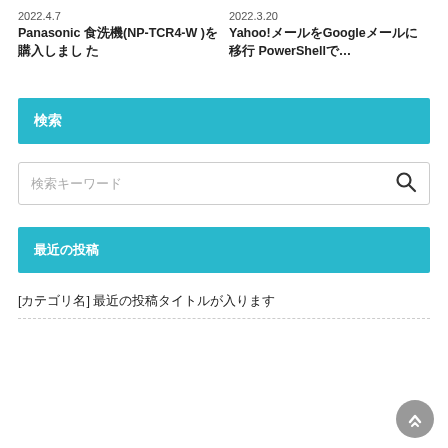2022.4.7
Panasonic 食洗機(NP-TCR4-W )を購入しまし た
2022.3.20
Yahoo!メールをGoogleメールに移行 PowerShellで...
検索
検索キーワード
最近の投稿
[カテゴリ名] 最近の投稿タイトルが入ります